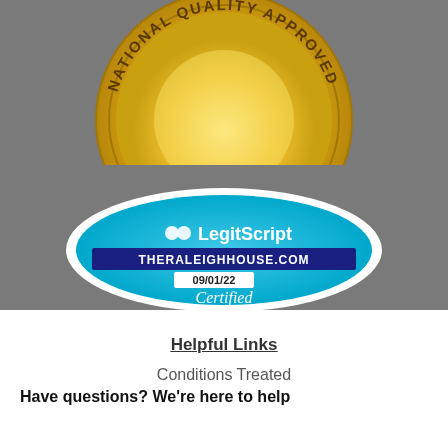[Figure (logo): Partial gold medal/seal showing 'NATIONAL QUALITY APPROVED' text curved around edge, gold colored with dark brown text on a gray background]
[Figure (logo): LegitScript certification badge - blue oval/diamond shape with white border, showing LegitScript logo, THERALEIGHHOUSE.COM in dark blue banner, date 09/01/22, and 'Certified' text]
Helpful Links
Conditions Treated
Have questions? We're here to help
[Figure (screenshot): Green chat widget with person icon on left (light green) and 'Chat now' text with chat bubble icon on right (dark green)]